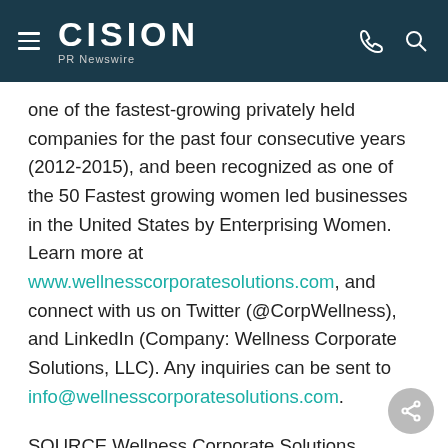CISION PR Newswire
one of the fastest-growing privately held companies for the past four consecutive years (2012-2015), and been recognized as one of the 50 Fastest growing women led businesses in the United States by Enterprising Women. Learn more at www.wellnesscorporatesolutions.com, and connect with us on Twitter (@CorpWellness), and LinkedIn (Company: Wellness Corporate Solutions, LLC). Any inquiries can be sent to info@wellnesscorporatesolutions.com.
SOURCE Wellness Corporate Solutions